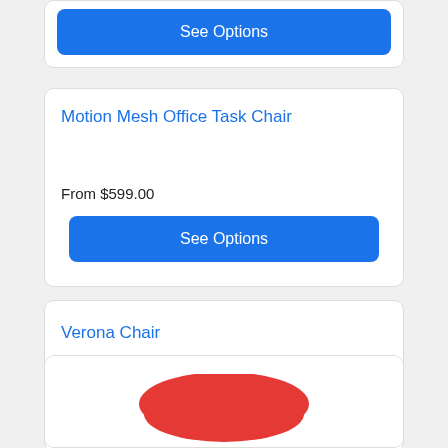See Options
Motion Mesh Office Task Chair
From $599.00
See Options
Verona Chair
From $154.00
See Options
[Figure (photo): Partial view of a red chair at the bottom of the page]